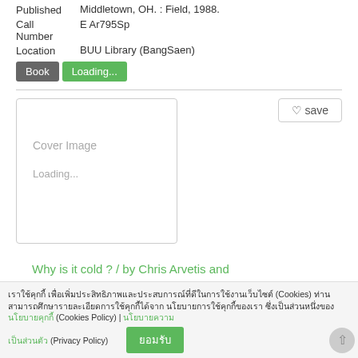Published Middletown, OH. : Field, 1988.
Call Number E Ar795Sp
Location BUU Library (BangSaen)
Book  Loading...
[Figure (screenshot): Card area with a book cover image placeholder showing 'Cover Image Loading...' text and a save button]
Why is it cold ? / by Chris Arvetis and Carole Palmer ; illustrated by Vernon
Cookie consent bar with Thai text about Cookies Policy and Privacy Policy, with an accept button